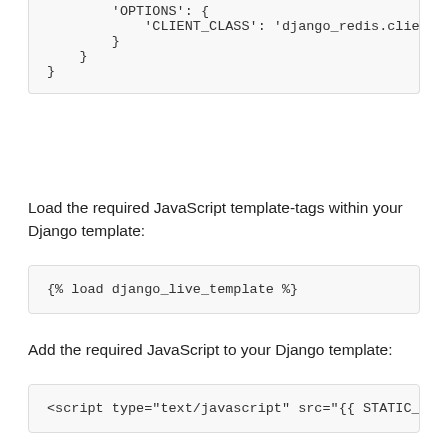'OPTIONS': {
        'CLIENT_CLASS': 'django_redis.client.D
    }
}
}
Load the required JavaScript template-tags within your Django template:
{% load django_live_template %}
Add the required JavaScript to your Django template:
<script type="text/javascript" src="{{ STATIC_URL
Use the include_live template-tag instead of the default include template-tag, with rows being a Django database QuerySet to listen for added, changed, deleted instances: